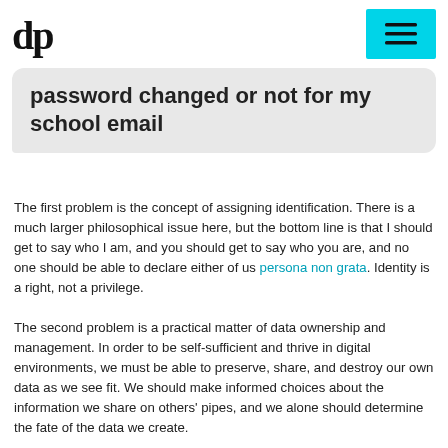dp [logo] | menu button
[Figure (screenshot): Chat bubble with text: password changed or not for my school email]
The first problem is the concept of assigning identification. There is a much larger philosophical issue here, but the bottom line is that I should get to say who I am, and you should get to say who you are, and no one should be able to declare either of us persona non grata. Identity is a right, not a privilege.
The second problem is a practical matter of data ownership and management. In order to be self-sufficient and thrive in digital environments, we must be able to preserve, share, and destroy our own data as we see fit. We should make informed choices about the information we share on others' pipes, and we alone should determine the fate of the data we create.